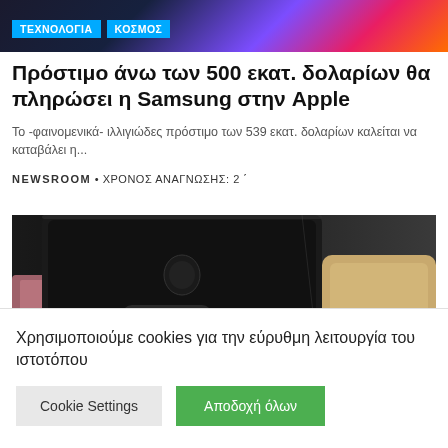[Figure (photo): Colorful abstract top banner image with purple and orange gradient]
ΤΕΧΝΟΛΟΓΙΑ  ΚΟΣΜΟΣ
Πρόστιμο άνω των 500 εκατ. δολαρίων θα πληρώσει η Samsung στην Apple
Το -φαινομενικά- ιλλιγιώδες πρόστιμο των 539 εκατ. δολαρίων καλείται να καταβάλει η...
NEWSROOM • ΧΡΟΝΟΣ ΑΝΑΓΝΩΣΗΣ: 2 ΄
[Figure (photo): Close-up photo of multiple iPhone devices showing their camera modules on a dark background, with black and gold colored iPhones visible]
Χρησιμοποιούμε cookies για την εύρυθμη λειτουργία του ιστοτόπου
Cookie Settings
Αποδοχή όλων